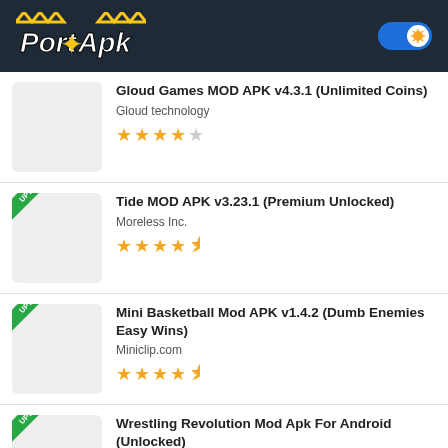PortApk
Gloud Games MOD APK v4.3.1 (Unlimited Coins) | Gloud technology | ★★★★☆
Tide MOD APK v3.23.1 (Premium Unlocked) | Moreless Inc. | ★★★★½
Mini Basketball Mod APK v1.4.2 (Dumb Enemies Easy Wins) | Miniclip.com | ★★★★½
Wrestling Revolution Mod Apk For Android (Unlocked) | MDickie. | ★★★★½